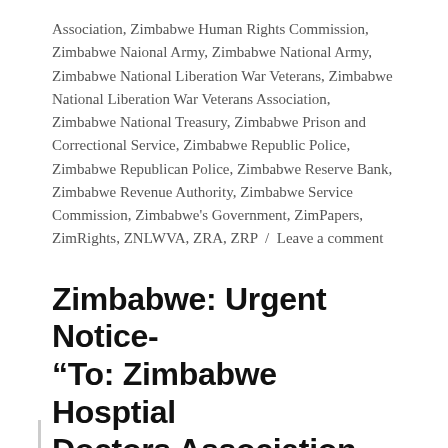Association, Zimbabwe Human Rights Commission, Zimbabwe Naional Army, Zimbabwe National Army, Zimbabwe National Liberation War Veterans, Zimbabwe National Liberation War Veterans Association, Zimbabwe National Treasury, Zimbabwe Prison and Correctional Service, Zimbabwe Republic Police, Zimbabwe Republican Police, Zimbabwe Reserve Bank, Zimbabwe Revenue Authority, Zimbabwe Service Commission, Zimbabwe's Government, ZimPapers, ZimRights, ZNLWVA, ZRA, ZRP  /  Leave a comment
Zimbabwe: Urgent Notice- “To: Zimbabwe Hosptial Doctors Association Members” (10.02.2017)